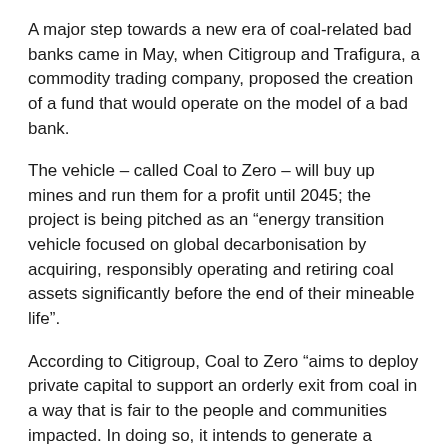A major step towards a new era of coal-related bad banks came in May, when Citigroup and Trafigura, a commodity trading company, proposed the creation of a fund that would operate on the model of a bad bank.
The vehicle – called Coal to Zero – will buy up mines and run them for a profit until 2045; the project is being pitched as an “energy transition vehicle focused on global decarbonisation by acquiring, responsibly operating and retiring coal assets significantly before the end of their mineable life”.
According to Citigroup, Coal to Zero “aims to deploy private capital to support an orderly exit from coal in a way that is fair to the people and communities impacted. In doing so, it intends to generate a positive, measurable environmental and social impact alongside a financial return for investors”.